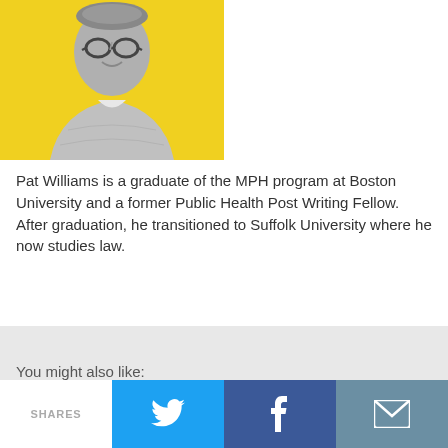[Figure (photo): Black and white headshot photo of Pat Williams, a young man wearing glasses and a plaid shirt, against a yellow background]
Pat Williams is a graduate of the MPH program at Boston University and a former Public Health Post Writing Fellow. After graduation, he transitioned to Suffolk University where he now studies law.
You might also like:
SHARES